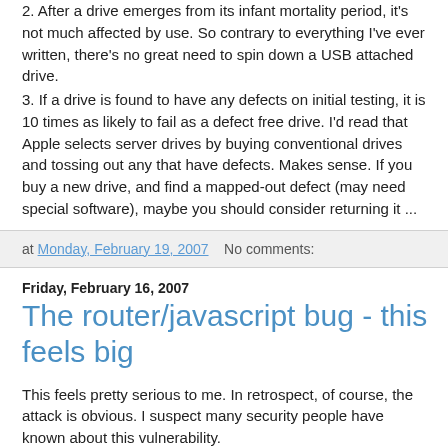2. After a drive emerges from its infant mortality period, it's not much affected by use. So contrary to everything I've ever written, there's no great need to spin down a USB attached drive.
3. If a drive is found to have any defects on initial testing, it is 10 times as likely to fail as a defect free drive. I'd read that Apple selects server drives by buying conventional drives and tossing out any that have defects. Makes sense. If you buy a new drive, and find a mapped-out defect (may need special software), maybe you should consider returning it ...
at Monday, February 19, 2007   No comments:
Friday, February 16, 2007
The router/javascript bug - this feels big
This feels pretty serious to me. In retrospect, of course, the attack is obvious. I suspect many security people have known about this vulnerability.